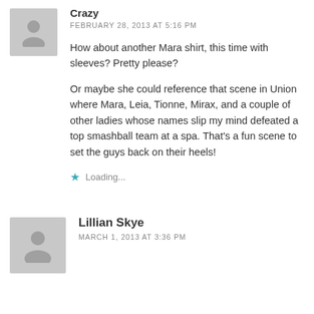Crazy
FEBRUARY 28, 2013 AT 5:16 PM
How about another Mara shirt, this time with sleeves? Pretty please?
Or maybe she could reference that scene in Union where Mara, Leia, Tionne, Mirax, and a couple of other ladies whose names slip my mind defeated a top smashball team at a spa. That's a fun scene to set the guys back on their heels!
Loading...
Lillian Skye
MARCH 1, 2013 AT 3:36 PM